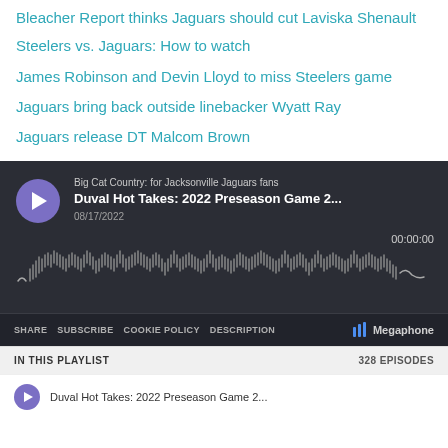Bleacher Report thinks Jaguars should cut Laviska Shenault
Steelers vs. Jaguars: How to watch
James Robinson and Devin Lloyd to miss Steelers game
Jaguars bring back outside linebacker Wyatt Ray
Jaguars release DT Malcom Brown
[Figure (screenshot): Podcast embed player for Big Cat Country: for Jacksonville Jaguars fans — episode 'Duval Hot Takes: 2022 Preseason Game 2...' dated 08/17/2022. Shows play button, waveform audio visualization, time 00:00:00, controls: SHARE, SUBSCRIBE, COOKIE POLICY, DESCRIPTION, Megaphone logo, playlist section showing IN THIS PLAYLIST / 328 EPISODES.]